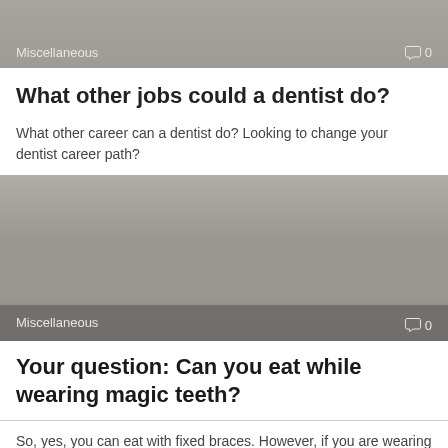[Figure (screenshot): Gray banner image with 'Miscellaneous' label and comment icon showing 0 comments]
What other jobs could a dentist do?
What other career can a dentist do? Looking to change your dentist career path?
[Figure (photo): Large gray placeholder image with 'Miscellaneous' label at bottom and comment icon showing 0 comments]
Your question: Can you eat while wearing magic teeth?
So, yes, you can eat with fixed braces. However, if you are wearing removable